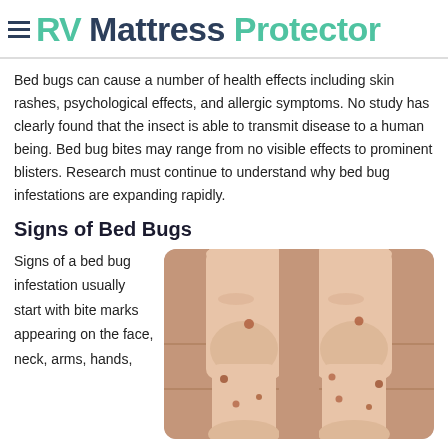RV Mattress Protector
Bed bugs can cause a number of health effects including skin rashes, psychological effects, and allergic symptoms. No study has clearly found that the insect is able to transmit disease to a human being. Bed bug bites may range from no visible effects to prominent blisters. Research must continue to understand why bed bug infestations are expanding rapidly.
Signs of Bed Bugs
Signs of a bed bug infestation usually start with bite marks appearing on the face, neck, arms, hands,
[Figure (photo): Photo of two human legs with visible bite marks/blisters on skin, photographed from above on a tiled floor]